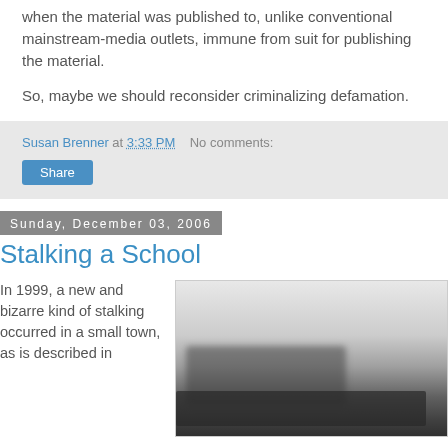when the material was published to, unlike conventional mainstream-media outlets, immune from suit for publishing the material.
So, maybe we should reconsider criminalizing defamation.
Susan Brenner at 3:33 PM   No comments:
Share
Sunday, December 03, 2006
Stalking a School
In 1999, a new and bizarre kind of stalking occurred in a small town, as is described in
[Figure (photo): Black and white blurry photo of a school building exterior]